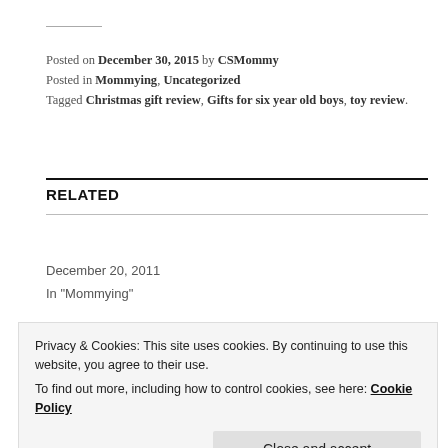Posted on December 30, 2015 by CSMommy
Posted in Mommying, Uncategorized
Tagged Christmas gift review, Gifts for six year old boys, toy review.
RELATED
No Apologies
December 20, 2011
In "Mommying"
Privacy & Cookies: This site uses cookies. By continuing to use this website, you agree to their use.
To find out more, including how to control cookies, see here: Cookie Policy
Close and accept